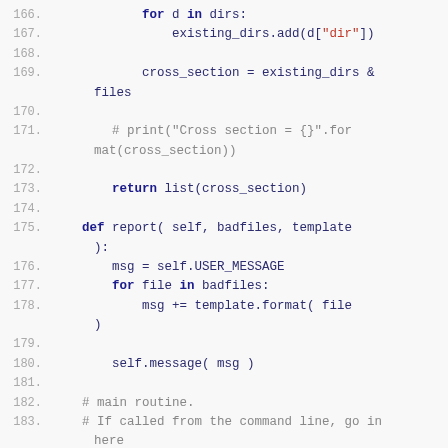Code listing lines 166-185, Python source code showing directory cross-section logic, report method, and main routine check.